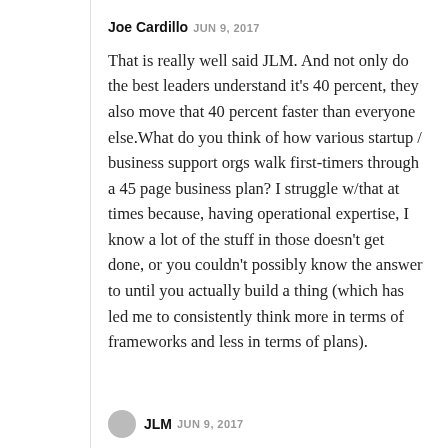Joe Cardillo JUN 9, 2017
That is really well said JLM. And not only do the best leaders understand it's 40 percent, they also move that 40 percent faster than everyone else.What do you think of how various startup / business support orgs walk first-timers through a 45 page business plan? I struggle w/that at times because, having operational expertise, I know a lot of the stuff in those doesn't get done, or you couldn't possibly know the answer to until you actually build a thing (which has led me to consistently think more in terms of frameworks and less in terms of plans).
JLM JUN 9, 2017